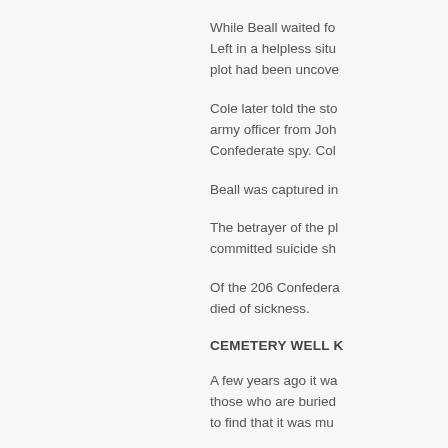While Beall waited fo...
Cole later told the sto... Confederate spy. Col...
Beall was captured in...
The betrayer of the pl... committed suicide sh...
Of the 206 Confedera... died of sickness.
CEMETERY WELL K...
A few years ago it wa... those who are buried... to find that it was mu...